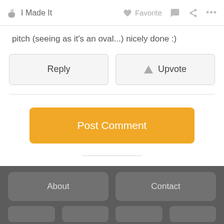✋ I Made It   ♥ Favorite  💬  ⬡  ...
pitch (seeing as it's an oval...) nicely done :)
Reply | ▲ Upvote
Post Comment
About   Contact